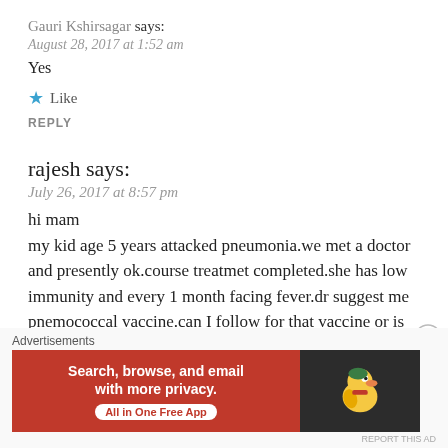Gauri Kshirsagar says:
August 28, 2017 at 1:52 am
Yes
★ Like
REPLY
rajesh says:
July 26, 2017 at 8:57 pm
hi mam
my kid age 5 years attacked pneumonia.we met a doctor and presently ok.course treatmet completed.she has low immunity and every 1 month facing fever.dr suggest me pnemococcal vaccine.can I follow for that vaccine or is there any thing
Advertisements
[Figure (screenshot): DuckDuckGo advertisement banner: orange section with text 'Search, browse, and email with more privacy. All in One Free App' and dark section with DuckDuckGo duck logo]